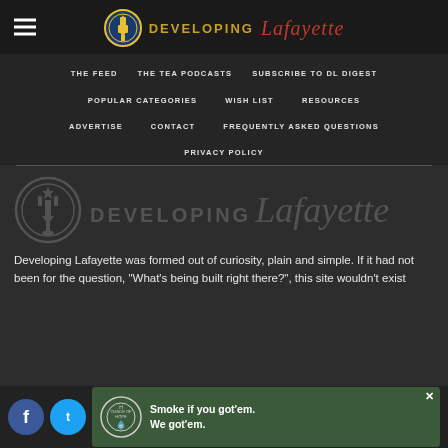DEVELOPING Lafayette
THE FEED
THE TEA PODCASTS
SUBSCRIBE TO DL DIGEST
POPULAR CATEGORIES
WISH LIST
RESOURCES
ADVERTISE
CONTACT
FREQUENTLY ASKED QUESTIONS
PRIVACY POLICY
[Figure (logo): Developing Lafayette watermark logo in grey]
Developing Lafayette was formed out of curiosity, plain and simple. If it had not been for the question, "What's being built right there?", this site wouldn't exist
[Figure (infographic): Advertisement banner: Ounce of Hope logo with text 'Smoke if you got'em. We got'em.']